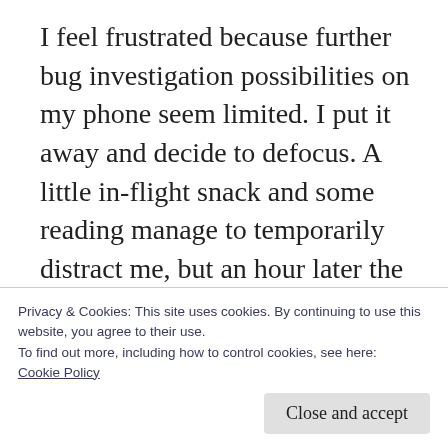I feel frustrated because further bug investigation possibilities on my phone seem limited. I put it away and decide to defocus. A little in-flight snack and some reading manage to temporarily distract me, but an hour later the bug creeps up on me again. I follow my energy that leads me to start a static analysis. Although the symptoms are all on display here, I suspect the cause is not located in my phone but rather within my PC, iTunes or in the synching between iTunes and
Privacy & Cookies: This site uses cookies. By continuing to use this website, you agree to their use.
To find out more, including how to control cookies, see here: Cookie Policy
Close and accept